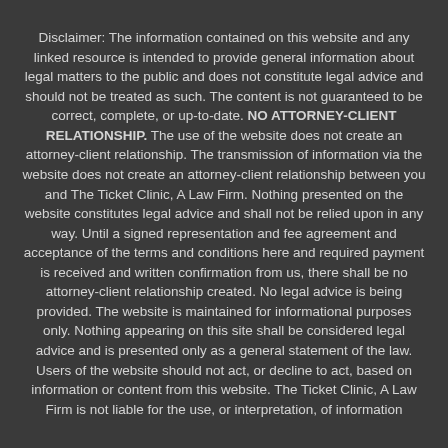Disclaimer: The information contained on this website and any linked resource is intended to provide general information about legal matters to the public and does not constitute legal advice and should not be treated as such. The content is not guaranteed to be correct, complete, or up-to-date. NO ATTORNEY-CLIENT RELATIONSHIP. The use of the website does not create an attorney-client relationship. The transmission of information via the website does not create an attorney-client relationship between you and The Ticket Clinic, A Law Firm. Nothing presented on the website constitutes legal advice and shall not be relied upon in any way. Until a signed representation and fee agreement and acceptance of the terms and conditions here and required payment is received and written confirmation from us, there shall be no attorney-client relationship created. No legal advice is being provided. The website is maintained for informational purposes only. Nothing appearing on this site shall be considered legal advice and is presented only as a general statement of the law. Users of the website should not act, or decline to act, based on information or content from this website. The Ticket Clinic, A Law Firm is not liable for the use, or interpretation, of information